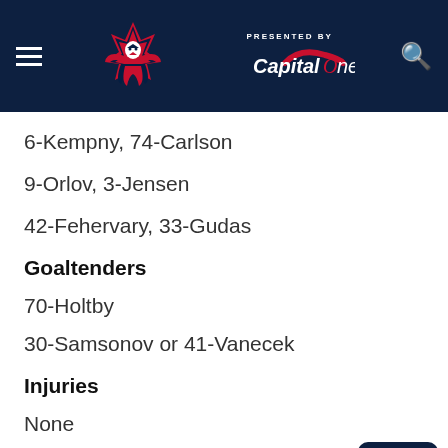PRESENTED BY Capital One
6-Kempny, 74-Carlson
9-Orlov, 3-Jensen
42-Fehervary, 33-Gudas
Goaltenders
70-Holtby
30-Samsonov or 41-Vanecek
Injuries
None
Scratches